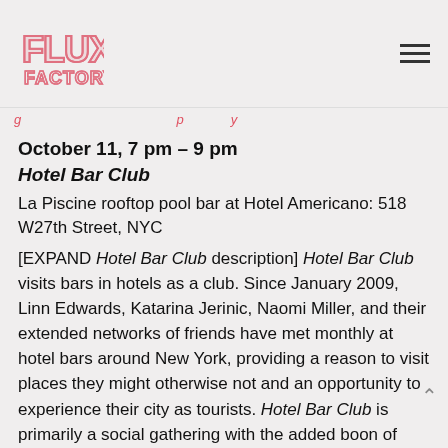FLUX logo and navigation hamburger menu
[truncated navigation link text]
October 11, 7 pm – 9 pm
Hotel Bar Club
La Piscine rooftop pool bar at Hotel Americano: 518 W27th Street, NYC
[EXPAND Hotel Bar Club description] Hotel Bar Club visits bars in hotels as a club. Since January 2009, Linn Edwards, Katarina Jerinic, Naomi Miller, and their extended networks of friends have met monthly at hotel bars around New York, providing a reason to visit places they might otherwise not and an opportunity to experience their city as tourists. Hotel Bar Club is primarily a social gathering with the added boon of getting to know friends of friends, and many photographs documenting each meeting are taken and